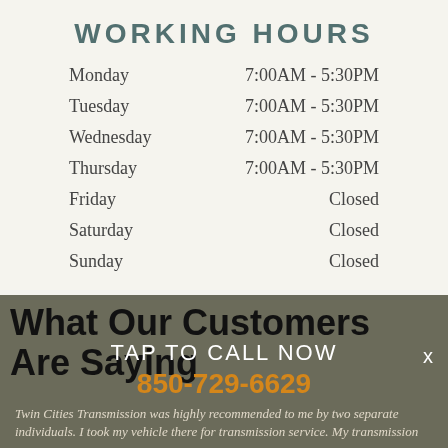WORKING HOURS
| Day | Hours |
| --- | --- |
| Monday | 7:00AM - 5:30PM |
| Tuesday | 7:00AM - 5:30PM |
| Wednesday | 7:00AM - 5:30PM |
| Thursday | 7:00AM - 5:30PM |
| Friday | Closed |
| Saturday | Closed |
| Sunday | Closed |
What Our Customers Are Saying
TAP TO CALL NOW
850-729-6629
Twin Cities Transmission was highly recommended to me by two separate individuals. I took my vehicle there for transmission service. My transmission